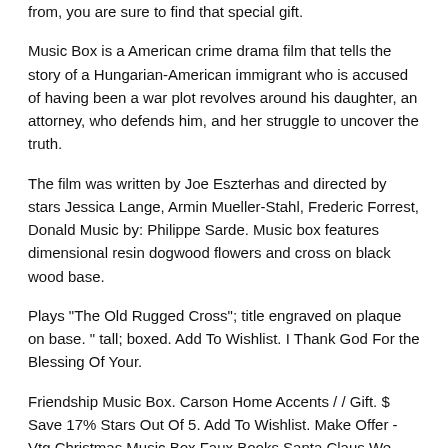from, you are sure to find that special gift.
Music Box is a American crime drama film that tells the story of a Hungarian-American immigrant who is accused of having been a war plot revolves around his daughter, an attorney, who defends him, and her struggle to uncover the truth.
The film was written by Joe Eszterhas and directed by stars Jessica Lange, Armin Mueller-Stahl, Frederic Forrest, Donald Music by: Philippe Sarde. Music box features dimensional resin dogwood flowers and cross on black wood base.
Plays "The Old Rugged Cross"; title engraved on plaque on base. " tall; boxed. Add To Wishlist. I Thank God For the Blessing Of Your.
Friendship Music Box. Carson Home Accents / / Gift. $ Save 17% Stars Out Of 5. Add To Wishlist. Make Offer - Vtg Christmas Music Box Faux Books Santa Claus We Wish You A Merry Christmas. Vintage wooden Christmas music box.
$ +$ shipping. Make Offer - Vintage wooden Christmas music box. Christmas Doll House Animated Music. Drill three holes through the